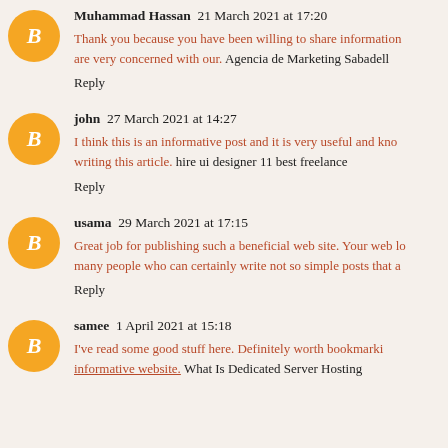Muhammad Hassan  21 March 2021 at 17:20
Thank you because you have been willing to share information with us. We will always appreciate all you have done here because I know you are very concerned with our. Agencia de Marketing Sabadell
Reply
john  27 March 2021 at 14:27
I think this is an informative post and it is very useful and knowledgeable. therefore, I would like to thank you for the efforts you have made in writing this article. hire ui designer 11 best freelance
Reply
usama  29 March 2021 at 17:15
Great job for publishing such a beneficial web site. Your web log isn't only useful but it is additionally really creative too. There tend to be not many people who can certainly write not so simple posts that artistically.
Reply
samee  1 April 2021 at 15:18
I've read some good stuff here. Definitely worth bookmarking for revisiting. I surprise how much effort you put to create such a great informative website. What Is Dedicated Server Hosting